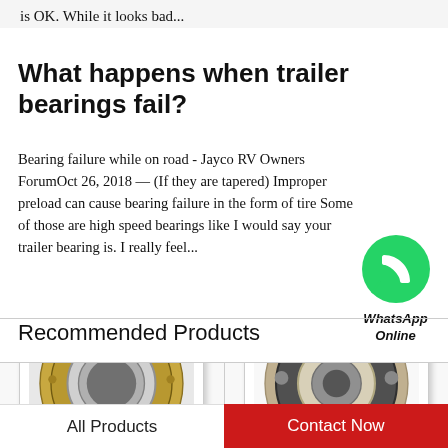is OK. While it looks bad...
What happens when trailer bearings fail?
Bearing failure while on road - Jayco RV Owners ForumOct 26, 2018 — (If they are tapered) Improper preload can cause bearing failure in the form of tire Some of those are high speed bearings like I would say your trailer bearing is. I really feel...
[Figure (logo): WhatsApp green phone icon with label 'WhatsApp Online']
Recommended Products
[Figure (photo): Gold/brass cage cylindrical roller bearing photographed on grey background]
[Figure (photo): Angular contact ball bearing with black cage, photographed on white background]
All Products
Contact Now